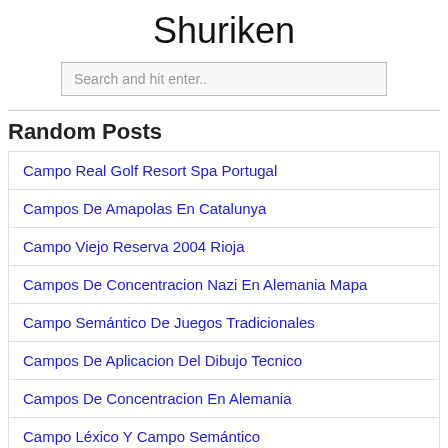Shuriken
Search and hit enter..
Random Posts
Campo Real Golf Resort Spa Portugal
Campos De Amapolas En Catalunya
Campo Viejo Reserva 2004 Rioja
Campos De Concentracion Nazi En Alemania Mapa
Campo Semántico De Juegos Tradicionales
Campos De Aplicacion Del Dibujo Tecnico
Campos De Concentracion En Alemania
Campo Léxico Y Campo Semántico